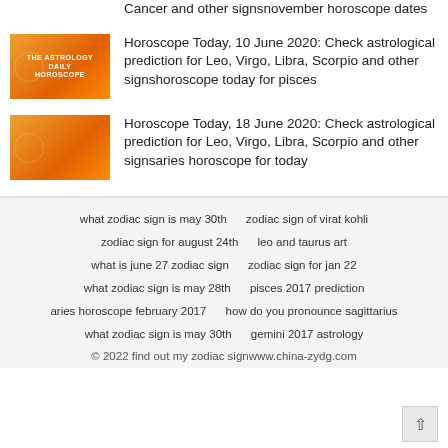Cancer and other signsnovember horoscope dates
[Figure (photo): Orange astrology daily horoscope thumbnail image]
Horoscope Today, 10 June 2020: Check astrological prediction for Leo, Virgo, Libra, Scorpio and other signshoroscope today for pisces
[Figure (photo): Orange astrology daily horoscope thumbnail image]
Horoscope Today, 18 June 2020: Check astrological prediction for Leo, Virgo, Libra, Scorpio and other signsaries horoscope for today
what zodiac sign is may 30th
zodiac sign of virat kohli
zodiac sign for august 24th
leo and taurus art
what is june 27 zodiac sign
zodiac sign for jan 22
what zodiac sign is may 28th
pisces 2017 prediction
aries horoscope february 2017
how do you pronounce sagittarius
what zodiac sign is may 30th
gemini 2017 astrology
© 2022 find out my zodiac signwww.china-zydg.com